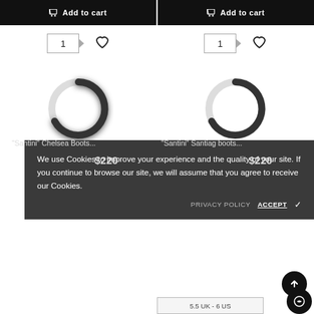[Figure (screenshot): Two 'Add to cart' buttons side by side on black background at top of e-commerce page]
[Figure (screenshot): Quantity selectors with '1' and heart/wishlist icons for two products]
[Figure (screenshot): Two loading spinner circles for product images]
"Santini" Chelsea Boots...
$220
"Santini" Santiag boots...
$220
We use Cookies to improve your experience and the quality of your site. If you continue to browse our site, we will assume that you agree to receive our Cookies.
PRIVACY POLICY
ACCEPT
5.5 UK - 6 US